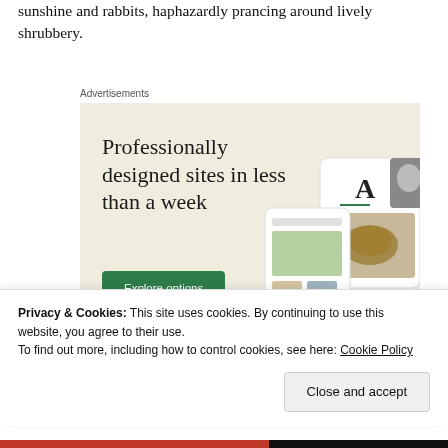sunshine and rabbits, haphazardly prancing around lively shrubbery.
Advertisements
[Figure (illustration): Advertisement for a web design service with beige background. Large serif headline reads 'Professionally designed sites in less than a week'. A green button labeled 'Explore options'. Mockup images of website UI on the right side.]
Privacy & Cookies: This site uses cookies. By continuing to use this website, you agree to their use.
To find out more, including how to control cookies, see here: Cookie Policy
Close and accept